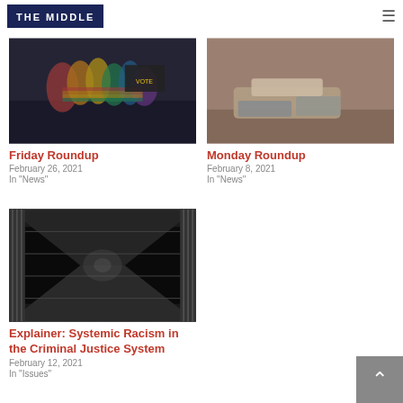THE MIDDLE
[Figure (photo): Pride flags being waved at a rally or protest]
Friday Roundup
February 26, 2021
In "News"
[Figure (photo): Homeless belongings on a street or doorway]
Monday Roundup
February 8, 2021
In "News"
[Figure (photo): Black and white hallway of a prison or jail]
Explainer: Systemic Racism in the Criminal Justice System
February 12, 2021
In "Issues"